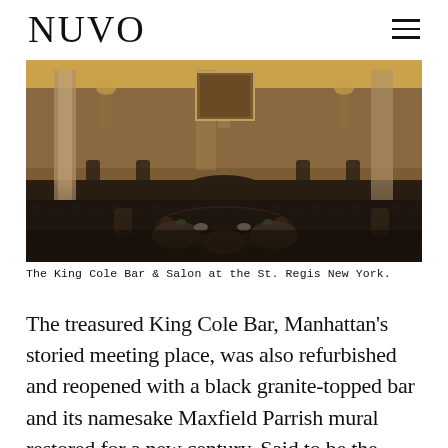NUVO
[Figure (photo): Interior of the King Cole Bar & Salon at the St. Regis New York, showing elegant dining tables, upholstered chairs, ornate columns, and warm golden lighting.]
The King Cole Bar & Salon at the St. Regis New York.
The treasured King Cole Bar, Manhattan’s storied meeting place, was also refurbished and reopened with a black granite-topped bar and its namesake Maxfield Parrish mural restored for a new century. Said to be the birthplace of the Bloody Mary